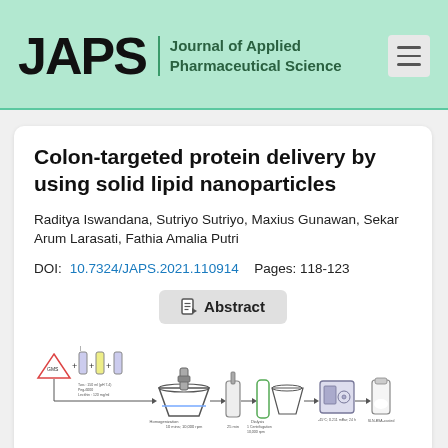JAPS Journal of Applied Pharmaceutical Science
Colon-targeted protein delivery by using solid lipid nanoparticles
Raditya Iswandana, Sutriyo Sutriyo, Maxius Gunawan, Sekar Arum Larasati, Fathia Amalia Putri
DOI: 10.7324/JAPS.2021.110914   Pages: 118-123
Abstract
[Figure (schematic): Schematic diagram of solid lipid nanoparticle preparation process showing steps: GMS + reagents in tubes, mixing/homogenization at 10 mins 10,000 rpm, 25 min step, dialysis/centrifugation 10,000 rpm steps, freeze drying -45°C 0.211 mBar 24h, and SLN-BSA coated final product]